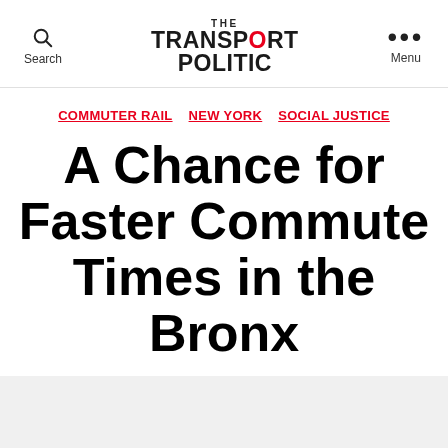Search | THE TRANSPORT POLITIC | Menu
COMMUTER RAIL  NEW YORK  SOCIAL JUSTICE
A Chance for Faster Commute Times in the Bronx
By Yonah Freemark   28 September 2012   36 Comments